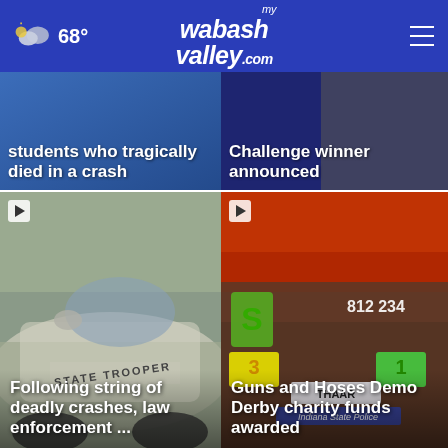68° mywabashvalley.com
[Figure (screenshot): News card: students who tragically died in a crash — blue background with text overlay]
[Figure (screenshot): News card: Challenge winner announced — dark background with text overlay]
[Figure (photo): Indiana State Police vehicle, white car with STATE TROOPER text on door]
Following string of deadly crashes, law enforcement ...
[Figure (photo): Guns and Hoses Demo Derby charity funds award ceremony with Indiana State Police]
Guns and Hoses Demo Derby charity funds awarded